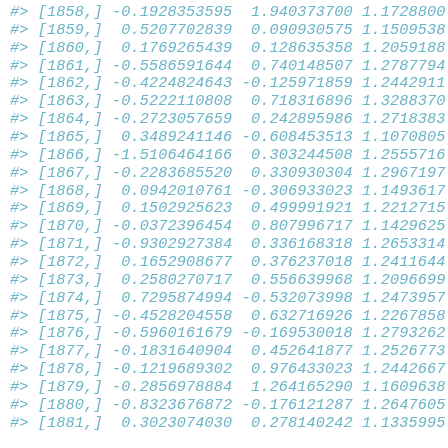#> [1858,] -0.1928353595  1.940373700 1.1728800
#> [1859,]  0.5207702839  0.090930575 1.1509538
#> [1860,]  0.1769265439  0.128635358 1.2059188
#> [1861,] -0.5586591644  0.740148507 1.2787794
#> [1862,] -0.4224824643 -0.125971859 1.2442911
#> [1863,] -0.5222110808  0.718316896 1.3288370
#> [1864,] -0.2723057659  0.242895986 1.2718383
#> [1865,]  0.3489241146 -0.608453513 1.1070805
#> [1866,] -1.5106464166  0.303244508 1.2555716
#> [1867,] -0.2283685520  0.330930304 1.2967197
#> [1868,]  0.0942010761 -0.306933023 1.1493617
#> [1869,]  0.1502925623  0.499991921 1.2212715
#> [1870,] -0.0372396454  0.807996717 1.1429625
#> [1871,] -0.9302927384  0.336168318 1.2653314
#> [1872,]  0.1652908677  0.376237018 1.2411644
#> [1873,]  0.2580270717  0.556639968 1.2096699
#> [1874,]  0.7295874994 -0.532073998 1.2473957
#> [1875,] -0.4528204558  0.632716926 1.2267858
#> [1876,] -0.5960161679 -0.169530018 1.2793262
#> [1877,] -0.1831640904  0.452641877 1.2526773
#> [1878,] -0.1219689302  0.976433023 1.2442667
#> [1879,] -0.2856978884  1.264165290 1.1609638
#> [1880,] -0.8323676872 -0.176121287 1.2647605
#> [1881,]  0.3023074030  0.278140242 1.1335995